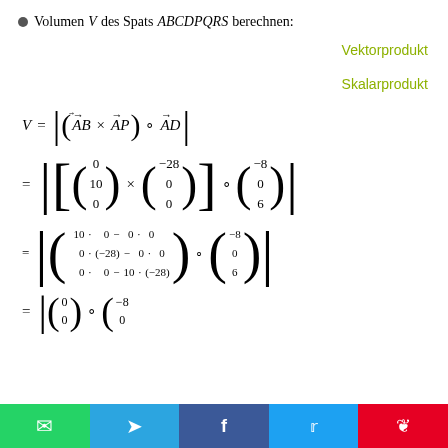Volumen V des Spats ABCDPQRS berechnen:
Vektorprodukt
Skalarprodukt